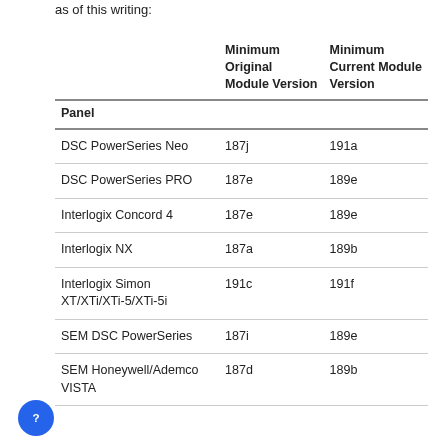as of this writing:
| Panel | Minimum Original Module Version | Minimum Current Module Version |
| --- | --- | --- |
| DSC PowerSeries Neo | 187j | 191a |
| DSC PowerSeries PRO | 187e | 189e |
| Interlogix Concord 4 | 187e | 189e |
| Interlogix NX | 187a | 189b |
| Interlogix Simon XT/XTi/XTi-5/XTi-5i | 191c | 191f |
| SEM DSC PowerSeries | 187i | 189e |
| SEM Honeywell/Ademco VISTA | 187d | 189b |